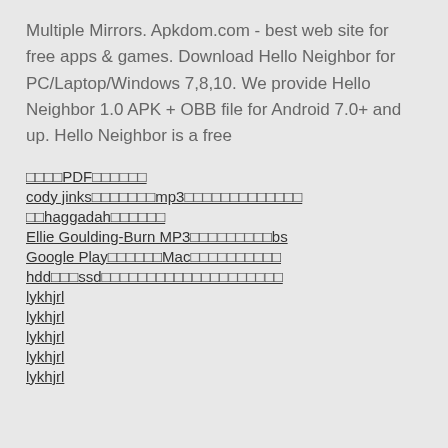Multiple Mirrors. Apkdom.com - best web site for free apps & games. Download Hello Neighbor for PC/Laptop/Windows 7,8,10. We provide Hello Neighbor 1.0 APK + OBB file for Android 7.0+ and up. Hello Neighbor is a free
□□□□PDF□□□□□□
cody jinks□□□□□□□mp3□□□□□□□□□□□□□□
□□haggadah□□□□□□
Ellie Goulding-Burn MP3□□□□□□□□□□bs
Google Play□□□□□□Mac□□□□□□□□□□□
hdd□□□ssd□□□□□□□□□□□□□□□□□□□□□□
lykhjrl
lykhjrl
lykhjrl
lykhjrl
lykhjrl